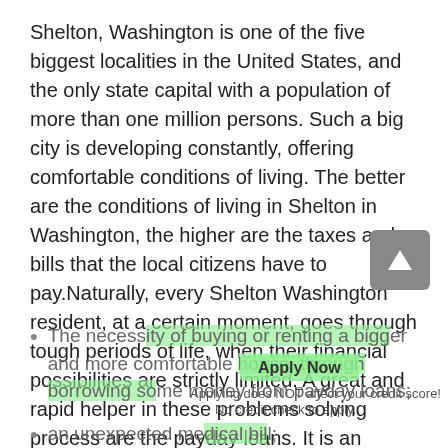Shelton, Washington is one of the five biggest localities in the United States, and the only state capital with a population of more than one million persons. Such a big city is developing constantly, offering comfortable conditions of living. The better are the conditions of living in Shelton in Washington, the higher are the taxes and bills that the local citizens have to pay.Naturally, every Shelton Washington resident, at a certain moment, goes through tough periods of life, when their financial possibilities are strictly limited. A great and rapid helper in these problems solving process are the payday loans. It is an excellent way of achieving the required money support, in case of the appearance of unexpected expenses, like:
The necessity of buying or renting a bigger and more comfortable house, through borrowing some money from payday loans;
an unexpected medical bill;